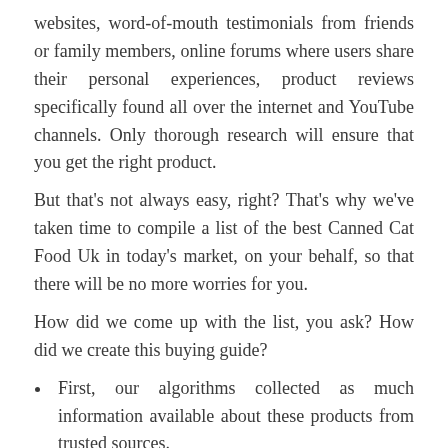websites, word-of-mouth testimonials from friends or family members, online forums where users share their personal experiences, product reviews specifically found all over the internet and YouTube channels. Only thorough research will ensure that you get the right product.
But that's not always easy, right? That's why we've taken time to compile a list of the best Canned Cat Food Uk in today's market, on your behalf, so that there will be no more worries for you.
How did we come up with the list, you ask? How did we create this buying guide?
First, our algorithms collected as much information available about these products from trusted sources.